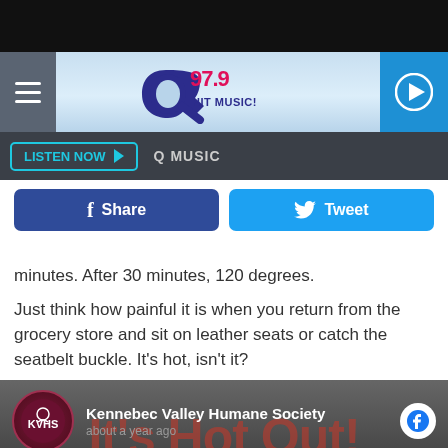[Figure (screenshot): Black top bar of mobile browser]
[Figure (logo): Q97.9 Hit Music radio station logo with menu hamburger button, play button]
LISTEN NOW ▶   Q MUSIC
[Figure (other): Facebook Share button and Twitter Tweet button]
minutes. After 30 minutes, 120 degrees.
Just think how painful it is when you return from the grocery store and sit on leather seats or catch the seatbelt buckle. It's hot, isn't it?
[Figure (screenshot): Kennebec Valley Humane Society Facebook post: It's Hot Out! Don't Leave Your Pet in the Car!]